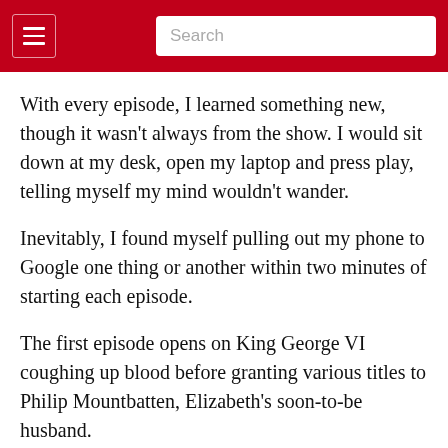Search
With every episode, I learned something new, though it wasn't always from the show. I would sit down at my desk, open my laptop and press play, telling myself my mind wouldn't wander.
Inevitably, I found myself pulling out my phone to Google one thing or another within two minutes of starting each episode.
The first episode opens on King George VI coughing up blood before granting various titles to Philip Mountbatten, Elizabeth's soon-to-be husband.
Pause.
The first title sequence has yet to roll, but I have a few questions the internet can handle. First, is